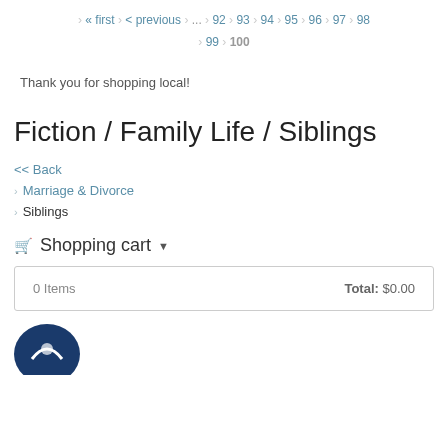« first  < previous  ...  92  93  94  95  96  97  98  99  100
Thank you for shopping local!
Fiction / Family Life / Siblings
<< Back
Marriage & Divorce
Siblings
Shopping cart
| Items | Total |
| --- | --- |
| 0 Items | Total: $0.00 |